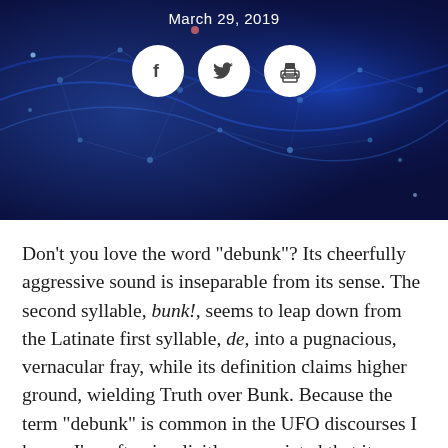[Figure (photo): Dark blue textured background with abstract glowing network/circuit pattern in navy and blue tones, serving as a hero banner image.]
March 29, 2019
[Figure (infographic): Three white circular social sharing icons: Facebook (f), Twitter (bird), and Print (printer icon), displayed on the hero image.]
Don’t you love the word “debunk”? Its cheerfully aggressive sound is inseparable from its sense. The second syllable, bunk!, seems to leap down from the Latinate first syllable, de, into a pugnacious, vernacular fray, while its definition claims higher ground, wielding Truth over Bunk. Because the term “debunk” is common in the UFO discourses I know, I’ve often implicitly appreciated that its register and texture align less with synonyms like “disprove,” and more with the words it confronts, words like